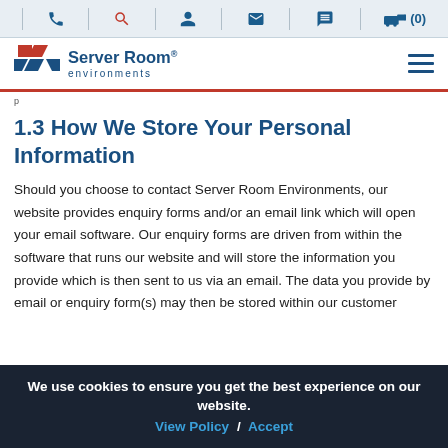Server Room Environments — top navigation bar with phone, search, account, mail, chat, cart icons
[Figure (logo): Server Room Environments logo with geometric tiled icon and brand name]
p
1.3 How We Store Your Personal Information
Should you choose to contact Server Room Environments, our website provides enquiry forms and/or an email link which will open your email software. Our enquiry forms are driven from within the software that runs our website and will store the information you provide which is then sent to us via an email. The data you provide by email or enquiry form(s) may then be stored within our customer
We use cookies to ensure you get the best experience on our website.
View Policy / Accept